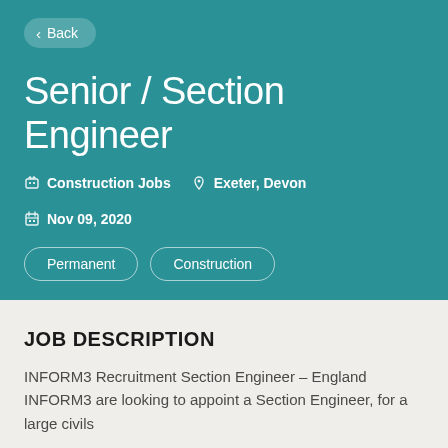Back
Senior / Section Engineer
Construction Jobs   Exeter, Devon   Nov 09, 2020
Permanent
Construction
JOB DESCRIPTION
INFORM3 Recruitment Section Engineer – England INFORM3 are looking to appoint a Section Engineer, for a large civils